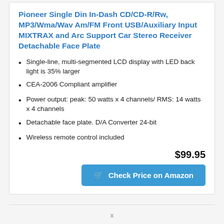Pioneer Single Din In-Dash CD/CD-R/Rw, MP3/Wma/Wav Am/FM Front USB/Auxiliary Input MIXTRAX and Arc Support Car Stereo Receiver Detachable Face Plate
Single-line, multi-segmented LCD display with LED back light is 35% larger
CEA-2006 Compliant amplifier
Power output: peak: 50 watts x 4 channels/ RMS: 14 watts x 4 channels
Detachable face plate. D/A Converter 24-bit
Wireless remote control included
$99.95
Check Price on Amazon